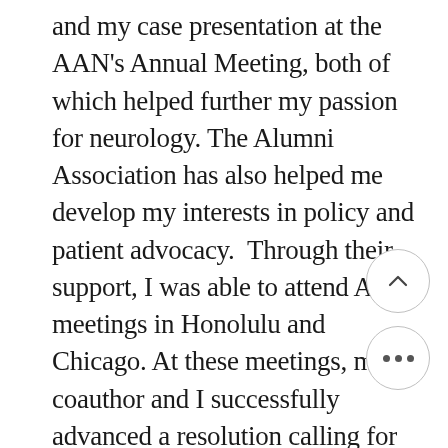and my case presentation at the AAN's Annual Meeting, both of which helped further my passion for neurology. The Alumni Association has also helped me develop my interests in policy and patient advocacy.  Through their support, I was able to attend AMA meetings in Honolulu and Chicago. At these meetings, my coauthor and I successfully advanced a resolution calling for feminine hygiene products to be classified as a medical necessity while learning about the intricate machinery of health care policy and the opportunities to advocate for our patients on the national stage. These experiences have fostered my